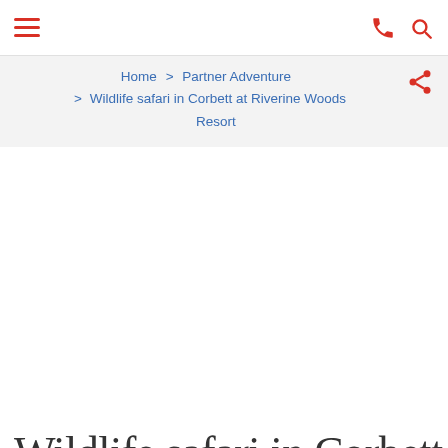☰  ☎  🔍
Home > Partner Adventure > Wildlife safari in Corbett at Riverine Woods Resort
Wildlife safari in Corbett at